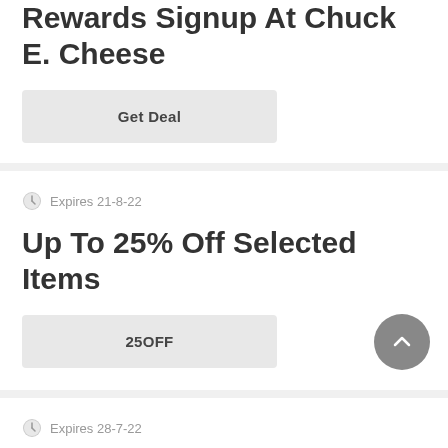Rewards Signup At Chuck E. Cheese
Get Deal
Expires 21-8-22
Up To 25% Off Selected Items
25OFF
Expires 28-7-22
$17 Off At Chuck E Cheeses